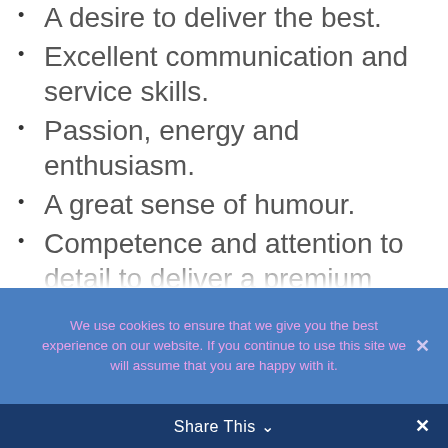A desire to deliver the best.
Excellent communication and service skills.
Passion, energy and enthusiasm.
A great sense of humour.
Competence and attention to detail to deliver a premium service for the customer.
Eagerness to learn new things and always be looking for ways to improve.
We use cookies to ensure that we give you the best experience on our website. If you continue to use this site we will assume that you are happy with it.
Share This